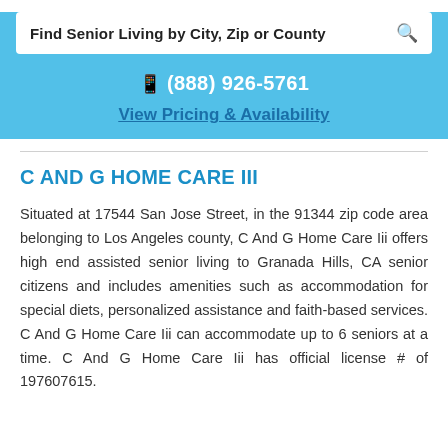Find Senior Living by City, Zip or County
☎ (888) 926-5761
View Pricing & Availability
C AND G HOME CARE III
Situated at 17544 San Jose Street, in the 91344 zip code area belonging to Los Angeles county, C And G Home Care Iii offers high end assisted senior living to Granada Hills, CA senior citizens and includes amenities such as accommodation for special diets, personalized assistance and faith-based services. C And G Home Care Iii can accommodate up to 6 seniors at a time. C And G Home Care Iii has official license # of 197607615.